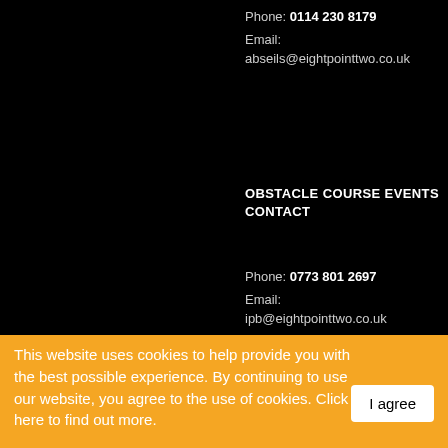Phone: 0114 230 8179
Email:
abseils@eightpointtwo.co.uk
OBSTACLE COURSE EVENTS CONTACT
Phone: 0773 801 2697
Email:
ipb@eightpointtwo.co.uk
This website uses cookies to help provide you with the best possible experience. By continuing to use our website, you agree to the use of cookies. Click here to find out more.